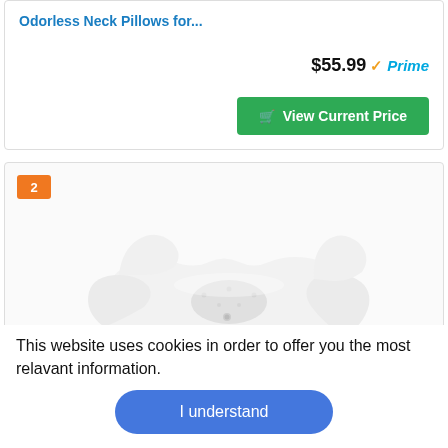Odorless Neck Pillows for...
$55.99 ✓Prime
View Current Price
[Figure (photo): Numbered badge '2' on a product card showing a white ergonomic neck pillow with contoured shape]
This website uses cookies in order to offer you the most relavant information.
I understand